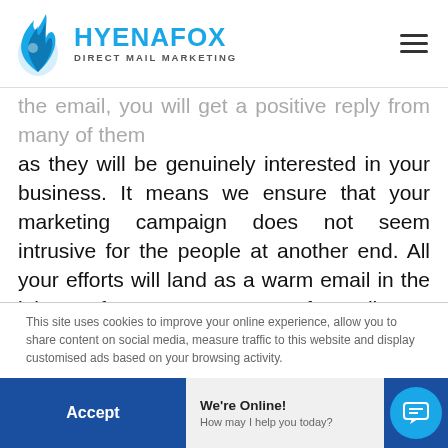HYENAFOX DIRECT MAIL MARKETING
the email, you will get a positive reply from many of them as they will be genuinely interested in your business. It means we ensure that your marketing campaign does not seem intrusive for the people at another end. All your efforts will land as a warm email in the inbox of your prospect. After all, we understand the significance of the accuracy of email address in the B2B industry.
This site uses cookies to improve your online experience, allow you to share content on social media, measure traffic to this website and display customised ads based on your browsing activity.
Settings
Accept
We're Online! How may I help you today?